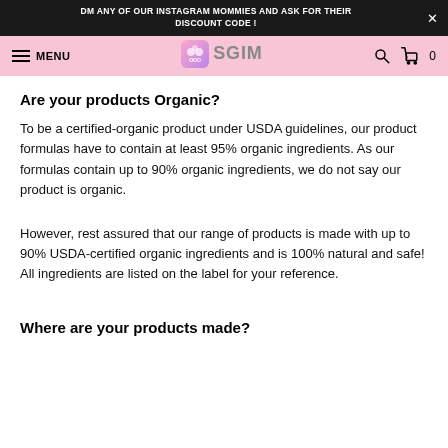DM ANY OF OUR INSTAGRAM MOMMIES AND ASK FOR THEIR DISCOUNT CODE!
MENU | SGIM | search | cart 0
Are your products Organic?
To be a certified-organic product under USDA guidelines, our product formulas have to contain at least 95% organic ingredients. As our formulas contain up to 90% organic ingredients, we do not say our product is organic.
However, rest assured that our range of products is made with up to 90% USDA-certified organic ingredients and is 100% natural and safe! All ingredients are listed on the label for your reference.
Where are your products made?